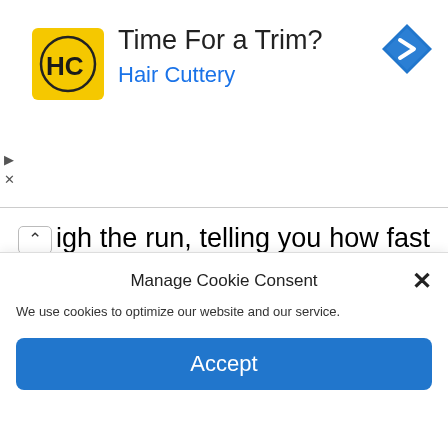[Figure (logo): Hair Cuttery advertisement banner with yellow square HC logo, title 'Time For a Trim?', subtitle 'Hair Cuttery', and a blue diamond navigation icon on the right]
ugh the run, telling you how fast you should be running, and playing music at the right tempo to help you keep pace. There are some for complete beginners that will help you get into running, but you'll also find more advanced ones to help you improve your
Manage Cookie Consent
We use cookies to optimize our website and our service.
Accept